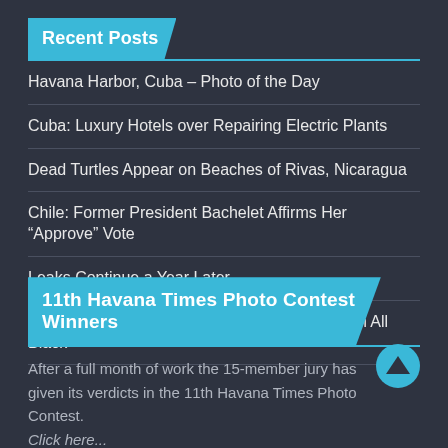Recent Posts
Havana Harbor, Cuba – Photo of the Day
Cuba: Luxury Hotels over Repairing Electric Plants
Dead Turtles Appear on Beaches of Rivas, Nicaragua
Chile: Former President Bachelet Affirms Her “Approve” Vote
Leaks Continue a Year Later
In Nuevitas, Cuba, “The Little Roosters Dress in All Black”
11th Havana Times Photo Contest Winners
After a full month of work the 15-member jury has given its verdicts in the 11th Havana Times Photo Contest.
Click here...